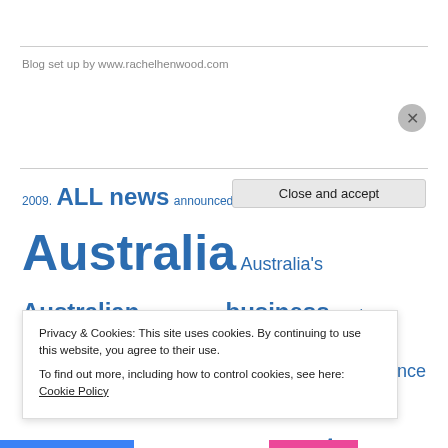Blog set up by www.rachelhenwood.com
2009. ALL news announced Australia Australia's Australian beach. budget business Canberra children city community decision DIAC Economic education expected experience family federal government future government growth home house immigration Immigration News including increase interest rates international job
Privacy & Cookies: This site uses cookies. By continuing to use this website, you agree to their use.
To find out more, including how to control cookies, see here: Cookie Policy
Close and accept